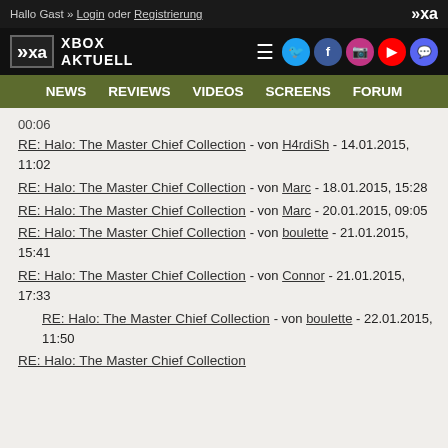Hallo Gast » Login oder Registrierung
[Figure (logo): Xbox Aktuell logo with XA icon and social media icons (Twitter, Facebook, Instagram, YouTube, Discord)]
NEWS  REVIEWS  VIDEOS  SCREENS  FORUM
00:06
RE: Halo: The Master Chief Collection - von H4rdiSh - 14.01.2015, 11:02
RE: Halo: The Master Chief Collection - von Marc - 18.01.2015, 15:28
RE: Halo: The Master Chief Collection - von Marc - 20.01.2015, 09:05
RE: Halo: The Master Chief Collection - von boulette - 21.01.2015, 15:41
RE: Halo: The Master Chief Collection - von Connor - 21.01.2015, 17:33
RE: Halo: The Master Chief Collection - von boulette - 22.01.2015, 11:50
RE: Halo: The Master Chief Collection